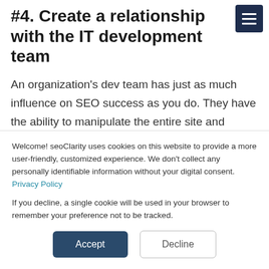#4. Create a relationship with the IT development team
An organization's dev team has just as much influence on SEO success as you do. They have the ability to manipulate the entire site and practically all of its components. They can squash SEO issues before it sees the light of Google, if they only knew.
Welcome! seoClarity uses cookies on this website to provide a more user-friendly, customized experience. We don't collect any personally identifiable information without your digital consent. Privacy Policy

If you decline, a single cookie will be used in your browser to remember your preference not to be tracked.